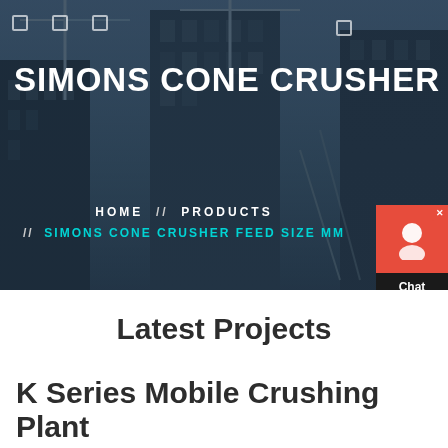[Figure (photo): Hero banner with construction site background showing buildings under construction with cranes, dark overlay. Navigation icons visible at top left and right.]
SIMONS CONE CRUSHER FEED S
HOME // PRODUCTS // SIMONS CONE CRUSHER FEED SIZE MM
Latest Projects
K Series Mobile Crushing Plant